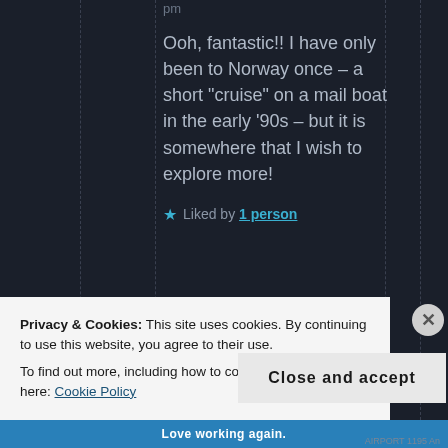pm
Ooh, fantastic!! I have only been to Norway once – a short "cruise" on a mail boat in the early '90s – but it is somewhere that I wish to explore more!
★ Liked by 1 person
Privacy & Cookies: This site uses cookies. By continuing to use this website, you agree to their use.
To find out more, including how to control cookies, see here: Cookie Policy
Close and accept
Love working again.